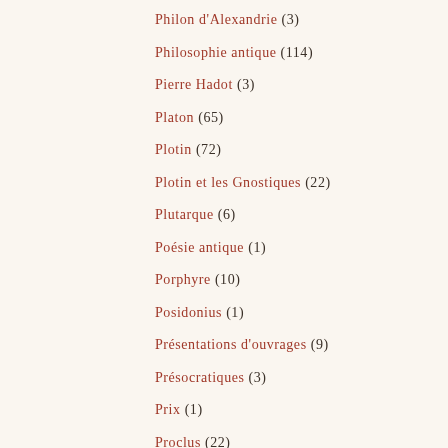Philon d'Alexandrie (3)
Philosophie antique (114)
Pierre Hadot (3)
Platon (65)
Plotin (72)
Plotin et les Gnostiques (22)
Plutarque (6)
Poésie antique (1)
Porphyre (10)
Posidonius (1)
Présentations d'ouvrages (9)
Présocratiques (3)
Prix (1)
Proclus (22)
Projets (22)
Publications (254)